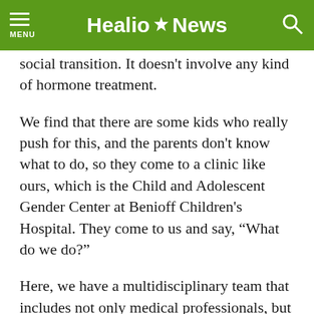Healio News
social transition. It doesn't involve any kind of hormone treatment.
We find that there are some kids who really push for this, and the parents don't know what to do, so they come to a clinic like ours, which is the Child and Adolescent Gender Center at Benioff Children's Hospital. They come to us and say, “What do we do?”
Here, we have a multidisciplinary team that includes not only medical professionals, but also mental health professionals, education and advocacy professionals. If needed, we have legal professionals. In a case like this, what usually happens is this family would meet with our psychologists, who